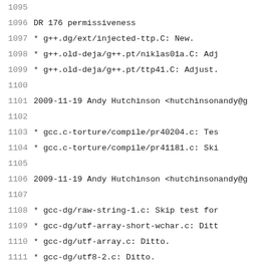1095
1096    DR 176 permissiveness
1097        * g++.dg/ext/injected-ttp.C: New.
1098        * g++.old-deja/g++.pt/niklas01a.C: Adj
1099        * g++.old-deja/g++.pt/ttp41.C: Adjust.
1100
1101    2009-11-19  Andy Hutchinson  <hutchinsonandy@g
1102
1103        * gcc.c-torture/compile/pr40204.c: Tes
1104        * gcc.c-torture/compile/pr41181.c: Ski
1105
1106    2009-11-19  Andy Hutchinson  <hutchinsonandy@g
1107
1108        * gcc-dg/raw-string-1.c: Skip test for
1109        * gcc-dg/utf-array-short-wchar.c: Ditt
1110        * gcc-dg/utf-array.c: Ditto.
1111        * gcc-dg/utf8-2.c: Ditto.
1112
1113    2009-11-19  Rafael Avila de Espindola  <espind
1114
1115        * g++.dg/plugin/selfassign.c: Include
1116        (plugin_init): Pass correct version to